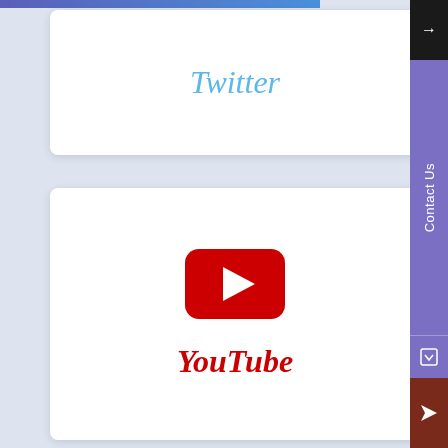Twitter
[Figure (logo): YouTube play button logo - red rounded rectangle with white triangle play icon]
YouTube